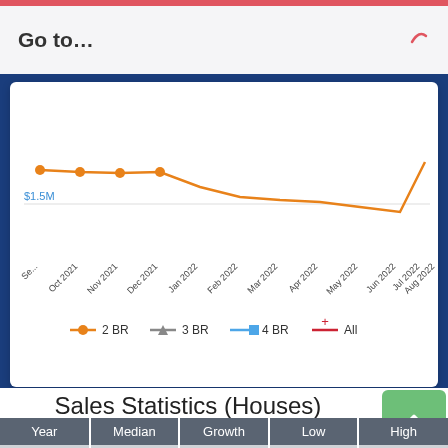Go to…
[Figure (line-chart): Median Sale Price by Bedroom Count]
Sales Statistics (Houses)
| Year | Median | Growth | Low | High |
| --- | --- | --- | --- | --- |